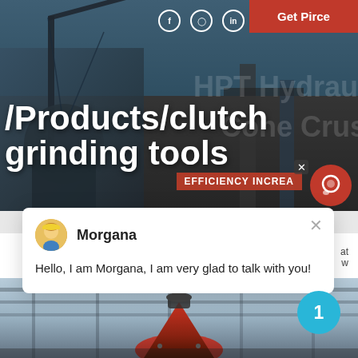[Figure (screenshot): Industrial mining/crushing machinery website hero banner with dark overlay showing heavy equipment, cranes, and machinery in background]
/Products/clutch grinding tools
HPT Hydraul Cone Crus
EFFICIENCY INCREA
[Figure (screenshot): Chat popup window with avatar of Morgana (female customer service avatar) and message: Hello, I am Morgana, I am very glad to talk with you!]
Morgana
Hello, I am Morgana, I am very glad to talk with you!
[Figure (photo): Industrial cone crusher machine photographed inside a factory/warehouse with steel girder ceiling visible]
1
Get Pirce